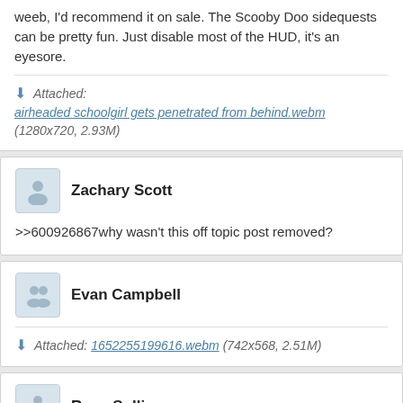weeb, I'd recommend it on sale. The Scooby Doo sidequests can be pretty fun. Just disable most of the HUD, it's an eyesore.
Attached: airheaded schoolgirl gets penetrated from behind.webm (1280x720, 2.93M)
Zachary Scott
>>600926867why wasn't this off topic post removed?
Evan Campbell
Attached: 1652255199616.webm (742x568, 2.51M)
Ryan Sullivan
>>600954101comical